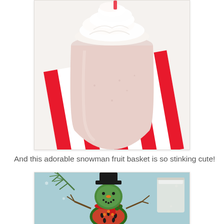[Figure (photo): A pink beverage in a clear plastic cup topped with whipped cream, sitting on a red and white striped napkin on a white surface. Top-down perspective.]
And this adorable snowman fruit basket is so stinking cute!
[Figure (photo): A snowman made from fruit (kiwi and watermelon slices) wearing a black felt top hat and a red strawberry scarf, with stick arms and button eyes, set on a light blue background with pine branches, surrounded by white snowflake decorations, with a glass of milk in the background.]